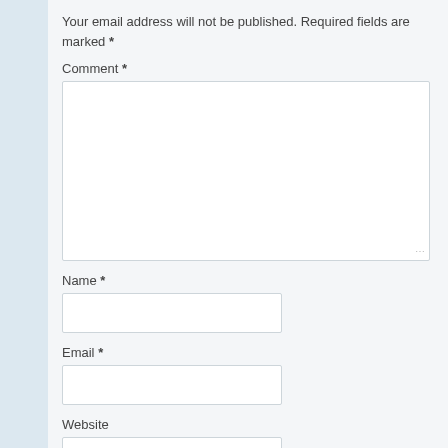Your email address will not be published. Required fields are marked *
Comment *
[Figure (other): Comment text area input field (empty)]
Name *
[Figure (other): Name input field (empty)]
Email *
[Figure (other): Email input field (empty)]
Website
[Figure (other): Website input field (empty)]